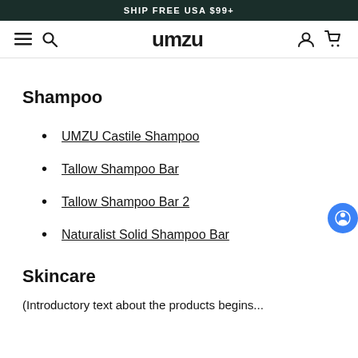SHIP FREE USA $99+
[Figure (logo): UMZU logo with hamburger menu, search, account, and cart icons in navigation bar]
Shampoo
UMZU Castile Shampoo
Tallow Shampoo Bar
Tallow Shampoo Bar 2
Naturalist Solid Shampoo Bar
Skincare
(introductory text about the products begins...)